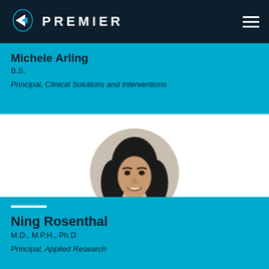PREMIER
Michele Arling
B.S.
Principal, Clinical Solutions and Interventions
[Figure (photo): Circular headshot portrait of Ning Rosenthal, a woman with long dark wavy hair, smiling, wearing a light background.]
Ning Rosenthal
M.D., M.P.H., Ph.D
Principal, Applied Research